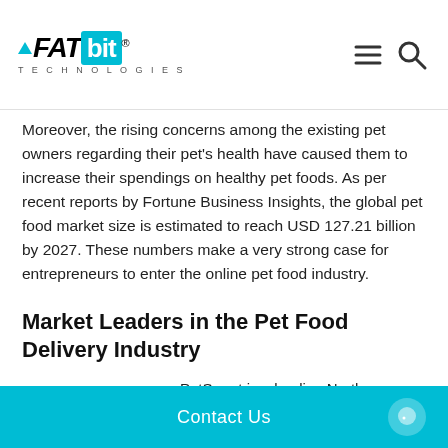FATbit Technologies
Moreover, the rising concerns among the existing pet owners regarding their pet's health have caused them to increase their spendings on healthy pet foods. As per recent reports by Fortune Business Insights, the global pet food market size is estimated to reach USD 127.21 billion by 2027. These numbers make a very strong case for entrepreneurs to enter the online pet food industry.
Market Leaders in the Pet Food Delivery Industry
[Figure (logo): PetSmart logo - red and blue text with paw print]
PetSmart is a leading North American pet food company engaged in the sale of products like pet food, accessories, furniture, etc.
Contact Us